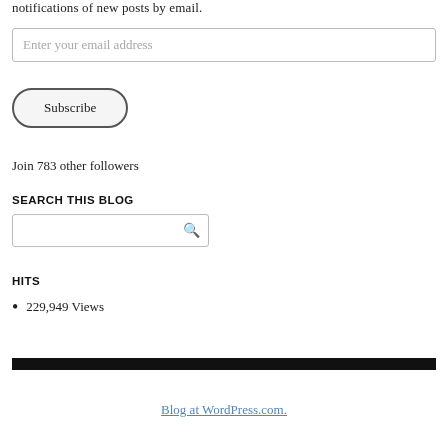notifications of new posts by email.
Enter your email address
Subscribe
Join 783 other followers
SEARCH THIS BLOG
HITS
229,949 Views
Blog at WordPress.com.